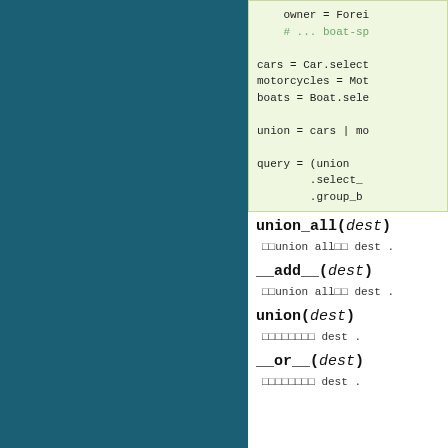[Figure (screenshot): Dark teal left panel sidebar]
owner = Forei
    # ... boat-sp
cars = Car.select
motorcycles = Mot
boats = Boat.sele

union = cars | mo

query = (union
        .select_
        .group_b
union_all(dest)
□□union all□□ dest .
__add__(dest)
□□union all□□ dest .
union(dest)
□□□□□□□□ dest .
__or__(dest)
□□□□□□□□ dest .